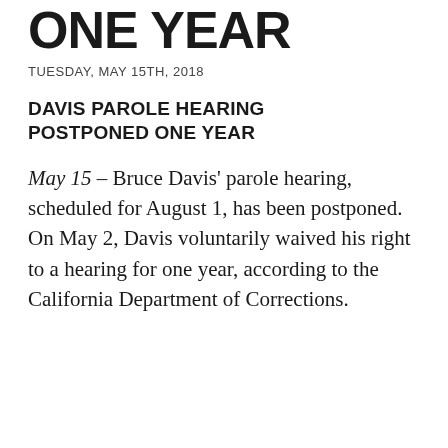ONE YEAR
TUESDAY, MAY 15TH, 2018
DAVIS PAROLE HEARING POSTPONED ONE YEAR
May 15 – Bruce Davis' parole hearing, scheduled for August 1, has been postponed. On May 2, Davis voluntarily waived his right to a hearing for one year, according to the California Department of Corrections.